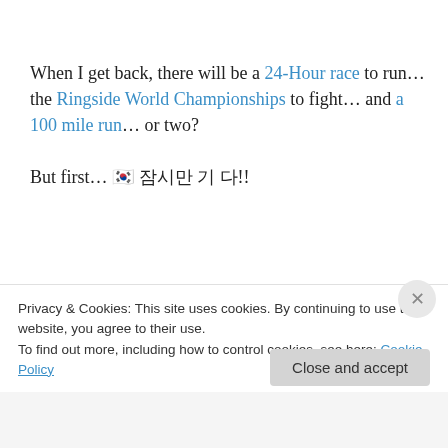When I get back, there will be a 24-Hour race to run… the Ringside World Championships to fight… and a 100 mile run… or two?
But first… 🇰🇷 잠시만 기 다!!
***
Are YOU ready to train like a champion? Do you want lose weight? Get stronger? Do you want to build that dream body, improve your race times or qualify for Boston? Go to
Privacy & Cookies: This site uses cookies. By continuing to use this website, you agree to their use.
To find out more, including how to control cookies, see here: Cookie Policy
Close and accept